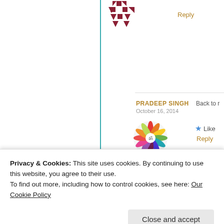[Figure (illustration): Geometric pattern avatar in dark red/maroon triangles and squares]
Reply
PRADEEP SINGH
October 16, 2014
Back to r
[Figure (illustration): Colorful circular mandala/Om symbol avatar with rainbow petal design]
Like
Reply
backpacker
October 22, 2014
Wonderful items fr
previous to and you
simply extremely e
[Figure (illustration): Green geometric/leaf pattern avatar]
Privacy & Cookies: This site uses cookies. By continuing to use this website, you agree to their use.
To find out more, including how to control cookies, see here: Our Cookie Policy
Close and accept